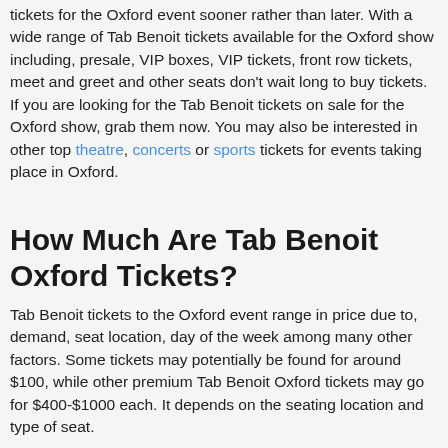tickets for the Oxford event sooner rather than later. With a wide range of Tab Benoit tickets available for the Oxford show including, presale, VIP boxes, VIP tickets, front row tickets, meet and greet and other seats don't wait long to buy tickets. If you are looking for the Tab Benoit tickets on sale for the Oxford show, grab them now. You may also be interested in other top theatre, concerts or sports tickets for events taking place in Oxford.
How Much Are Tab Benoit Oxford Tickets?
Tab Benoit tickets to the Oxford event range in price due to, demand, seat location, day of the week among many other factors. Some tickets may potentially be found for around $100, while other premium Tab Benoit Oxford tickets may go for $400-$1000 each. It depends on the seating location and type of seat.